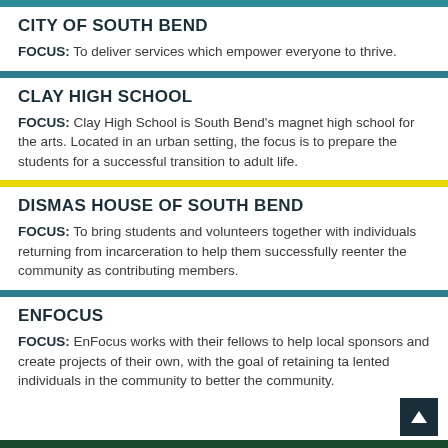CITY OF SOUTH BEND
FOCUS: To deliver services which empower everyone to thrive.
CLAY HIGH SCHOOL
FOCUS: Clay High School is South Bend's magnet high school for the arts. Located in an urban setting, the focus is to prepare the students for a successful transition to adult life.
DISMAS HOUSE OF SOUTH BEND
FOCUS: To bring students and volunteers together with individuals returning from incarceration to help them successfully reenter the community as contributing members.
ENFOCUS
FOCUS: EnFocus works with their fellows to help local sponsors and create projects of their own, with the goal of retaining talented individuals in the community to better the community.